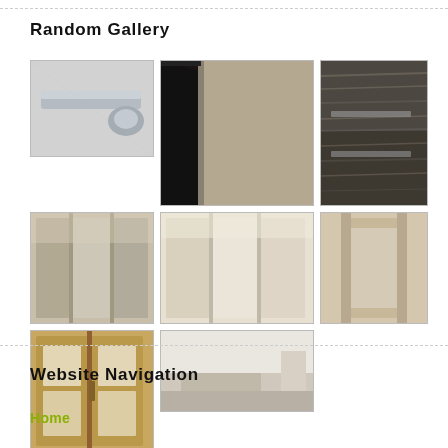Random Gallery
[Figure (photo): Close-up of a modern aluminum furniture handle/rail on a white surface]
[Figure (photo): Corner detail of a dark frame with beige/taupe panel]
[Figure (photo): Close-up of dark wood-grain sliding wardrobe doors with chrome handles]
[Figure (photo): Sliding wardrobe doors with mirror panels reflecting a bedroom interior]
[Figure (photo): Sliding wardrobe doors with cream panels and mirror reflecting bedroom]
[Figure (photo): Single wardrobe door in wood frame with mirror showing bedroom reflection]
[Figure (photo): Wooden double door with glass panels]
[Figure (photo): Modern bedroom interior with white walls and bed]
Website Navigation
Home